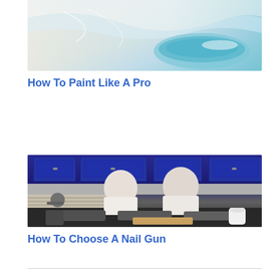[Figure (photo): Thumbnail image showing paint or painting supplies — appears to show a pool/tub covered in plastic sheeting with blue tones]
How To Paint Like A Pro
[Figure (photo): Thumbnail image showing two men in white shirts leaning over a dark counter with nail guns displayed in front of them, in a garage-style workshop setting with blue cabinets in background]
How To Choose A Nail Gun